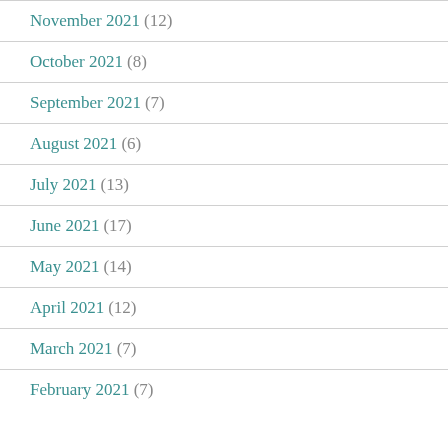November 2021 (12)
October 2021 (8)
September 2021 (7)
August 2021 (6)
July 2021 (13)
June 2021 (17)
May 2021 (14)
April 2021 (12)
March 2021 (7)
February 2021 (7)